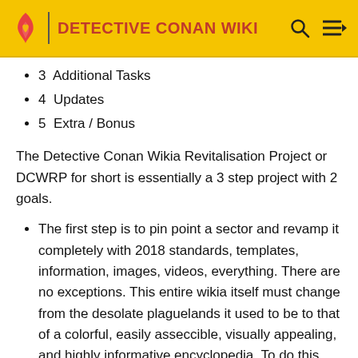DETECTIVE CONAN WIKI
3  Additional Tasks
4  Updates
5  Extra / Bonus
The Detective Conan Wikia Revitalisation Project or DCWRP for short is essentially a 3 step project with 2 goals.
The first step is to pin point a sector and revamp it completely with 2018 standards, templates, information, images, videos, everything. There are no exceptions. This entire wikia itself must change from the desolate plaguelands it used to be to that of a colorful, easily asseccible, visually appealing, and highly informative encyclopedia. To do this, nothing from pre 2018 can remain the way it is. Though key